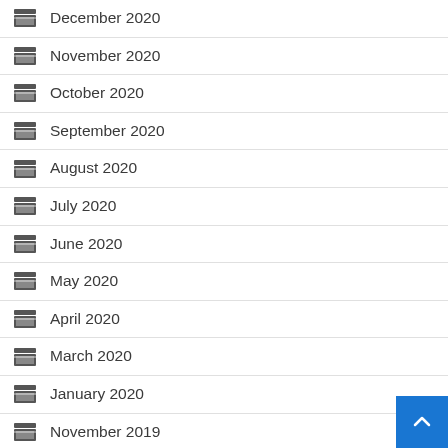December 2020
November 2020
October 2020
September 2020
August 2020
July 2020
June 2020
May 2020
April 2020
March 2020
January 2020
November 2019
October 2019